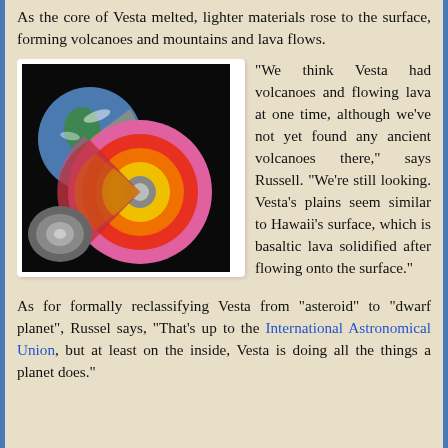As the core of Vesta melted, lighter materials rose to the surface, forming volcanoes and mountains and lava flows.
[Figure (illustration): Cross-section diagram comparing Earth's layered interior to Vesta's layered interior, showing core, mantle, and crust layers in yellow, orange/red/pink colors against a black background.]
"We think Vesta had volcanoes and flowing lava at one time, although we've not yet found any ancient volcanoes there," says Russell. "We're still looking. Vesta's plains seem similar to Hawaii's surface, which is basaltic lava solidified after flowing onto the surface."
As for formally reclassifying Vesta from "asteroid" to "dwarf planet", Russel says, "That's up to the International Astronomical Union, but at least on the inside, Vesta is doing all the things a planet does."